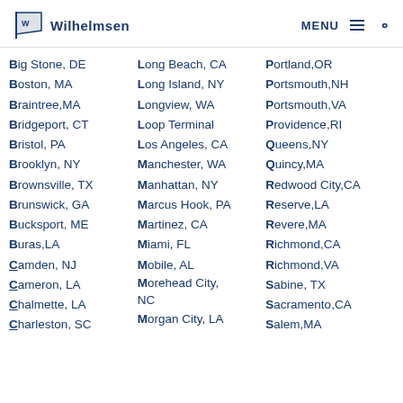Wilhelmsen — MENU
Big Stone, DE
Boston, MA
Braintree, MA
Bridgeport, CT
Bristol, PA
Brooklyn, NY
Brownsville, TX
Brunswick, GA
Bucksport, ME
Buras, LA
Camden, NJ
Cameron, LA
Chalmette, LA
Charleston, SC
Long Beach, CA
Long Island, NY
Longview, WA
Loop Terminal
Los Angeles, CA
Manchester, WA
Manhattan, NY
Marcus Hook, PA
Martinez, CA
Miami, FL
Mobile, AL
Morehead City, NC
Morgan City, LA
Portland, OR
Portsmouth, NH
Portsmouth, VA
Providence, RI
Queens, NY
Quincy, MA
Redwood City, CA
Reserve, LA
Revere, MA
Richmond, CA
Richmond, VA
Sabine, TX
Sacramento, CA
Salem, MA